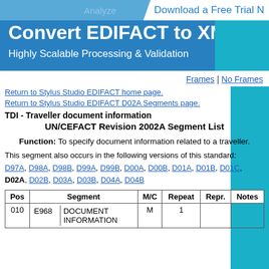[Figure (illustration): Blue banner with 'Convert EDIFACT to XML' title, 'Highly Scalable Processing & Validation' subtitle, and 'Download a Free Trial' callout on white tab. 'Analyze' watermark text visible.]
Frames | No Frames
Return to Stylus Studio EDIFACT home page.
Return to Stylus Studio EDIFACT D02A Segments page.
TDI - Traveller document information
UN/CEFACT Revision 2002A Segment List
Function: To specify document information related to a traveller.
This segment also occurs in the following versions of this standard:
D97A, D98A, D98B, D99A, D99B, D00A, D00B, D01A, D01B, D01C, D02A, D02B, D03A, D03B, D04A, D04B
| Pos | Segment | M/C | Repeat | Repr. | Notes |
| --- | --- | --- | --- | --- | --- |
| 010 | E968 DOCUMENT INFORMATION | M | 1 |  |  |